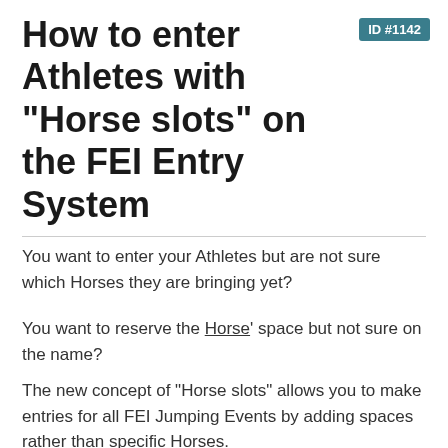How to enter Athletes with "Horse slots" on the FEI Entry System
ID #1142
You want to enter your Athletes but are not sure which Horses they are bringing yet?
You want to reserve the Horse' space but not sure on the name?
The new concept of "Horse slots" allows you to make entries for all FEI Jumping Events by adding spaces rather than specific Horses.